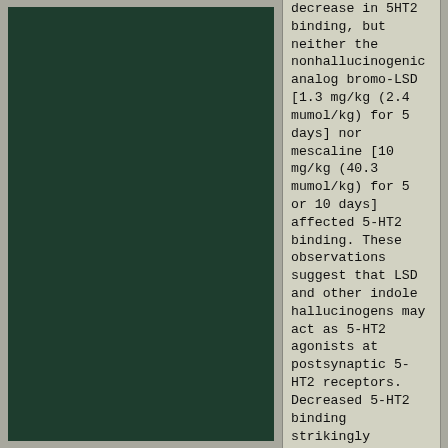[Figure (other): Dark green rectangular panel occupying the left portion of the page]
decrease in 5HT2 binding, but neither the nonhallucinogenic analog bromo-LSD [1.3 mg/kg (2.4 mumol/kg) for 5 days] nor mescaline [10 mg/kg (40.3 mumol/kg) for 5 or 10 days] affected 5-HT2 binding. These observations suggest that LSD and other indole hallucinogens may act as 5-HT2 agonists at postsynaptic 5-HT2 receptors. Decreased 5-HT2 binding strikingly parallels the development and loss of behavioral tolerance seen with repeated LSD administration, but the decreased